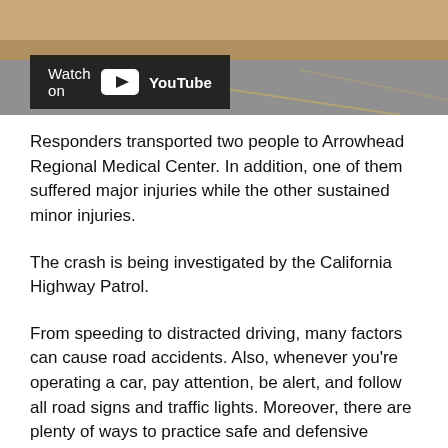[Figure (screenshot): Partial view of a highway road photo with desert terrain, showing a YouTube embed badge overlay with 'Watch on YouTube' text]
Responders transported two people to Arrowhead Regional Medical Center. In addition, one of them suffered major injuries while the other sustained minor injuries.
The crash is being investigated by the California Highway Patrol.
From speeding to distracted driving, many factors can cause road accidents. Also, whenever you’re operating a car, pay attention, be alert, and follow all road signs and traffic lights. Moreover, there are plenty of ways to practice safe and defensive driving.